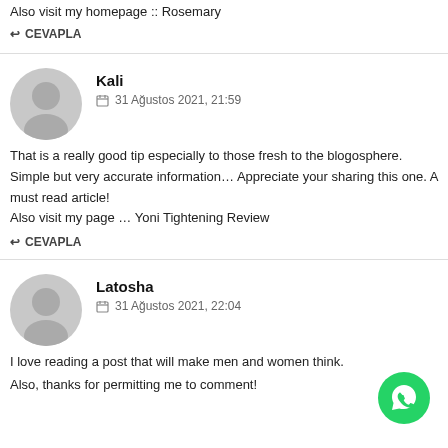Also visit my homepage :: Rosemary
↩ CEVAPLA
Kali
31 Ağustos 2021, 21:59
That is a really good tip especially to those fresh to the blogosphere. Simple but very accurate information… Appreciate your sharing this one. A must read article!
Also visit my page … Yoni Tightening Review
↩ CEVAPLA
Latosha
31 Ağustos 2021, 22:04
I love reading a post that will make men and women think.
Also, thanks for permitting me to comment!